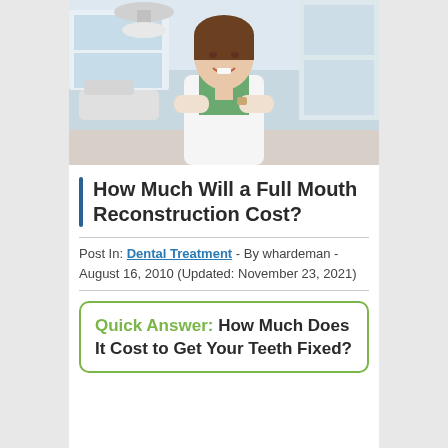[Figure (photo): A smiling woman dentist in a white lab coat with arms crossed, standing in a dental office with equipment visible in the background.]
How Much Will a Full Mouth Reconstruction Cost?
Post In: Dental Treatment - By whardeman - August 16, 2010 (Updated: November 23, 2021)
Quick Answer: How Much Does It Cost to Get Your Teeth Fixed?